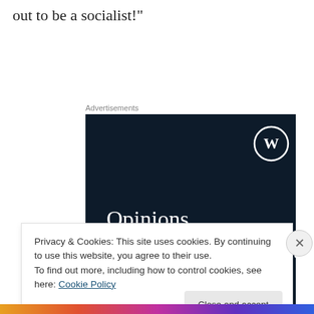out to be a socialist!"
Advertisements
[Figure (illustration): WordPress.com advertisement banner with dark navy background, WordPress logo (W in circle) top right, text 'Opinions. We all have them!' in white serif font, pink button bar at bottom left, grey circle at bottom right.]
Privacy & Cookies: This site uses cookies. By continuing to use this website, you agree to their use.
To find out more, including how to control cookies, see here: Cookie Policy